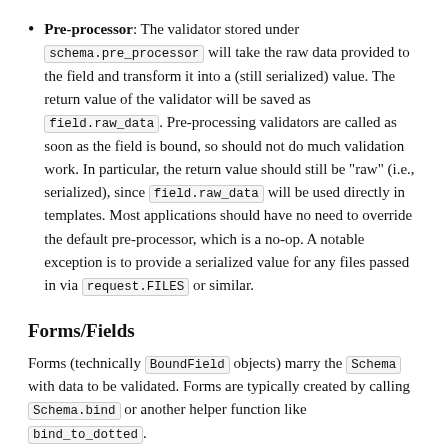Pre-processor: The validator stored under schema.pre_processor will take the raw data provided to the field and transform it into a (still serialized) value. The return value of the validator will be saved as field.raw_data. Pre-processing validators are called as soon as the field is bound, so should not do much validation work. In particular, the return value should still be "raw" (i.e., serialized), since field.raw_data will be used directly in templates. Most applications should have no need to override the default pre-processor, which is a no-op. A notable exception is to provide a serialized value for any files passed in via request.FILES or similar.
Forms/Fields
Forms (technically BoundField objects) marry the Schema with data to be validated. Forms are typically created by calling Schema.bind or another helper function like bind_to_dotted. Forms provide a nice API for accessing errors and cleaned data